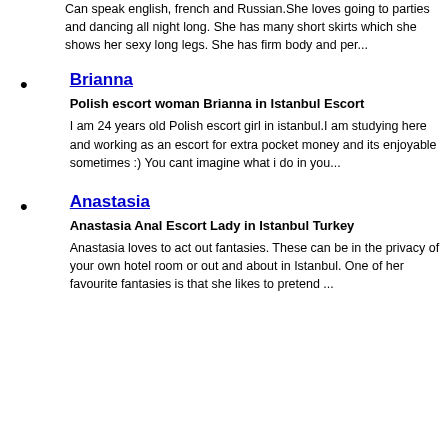Can speak english, french and Russian.She loves going to parties and dancing all night long. She has many short skirts which she shows her sexy long legs. She has firm body and per...
Brianna
Polish escort woman Brianna in Istanbul Escort
I am 24 years old Polish escort girl in istanbul.I am studying here and working as an escort for extra pocket money and its enjoyable sometimes :) You cant imagine what i do in you...
Anastasia
Anastasia Anal Escort Lady in Istanbul Turkey
Anastasia loves to act out fantasies. These can be in the privacy of your own hotel room or out and about in Istanbul. One of her favourite fantasies is that she likes to pretend ...